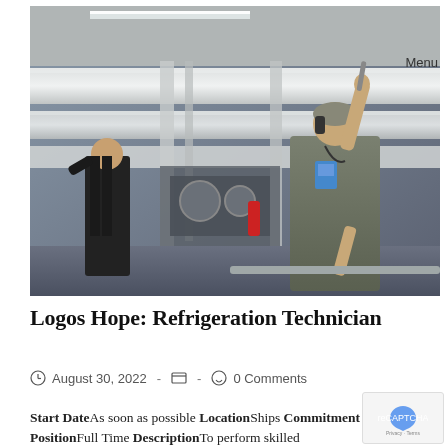[Figure (photo): Two workers in an industrial ship engine room with large white pipes and machinery. One man in background wearing black, one man in foreground wearing gray work coveralls and ID badge, holding a railing and looking up at pipes.]
Logos Hope: Refrigeration Technician
August 30, 2022  -    -   0 Comments
Start DateAs soon as possible LocationShips Commitment Years PositionFull Time DescriptionTo perform skilled